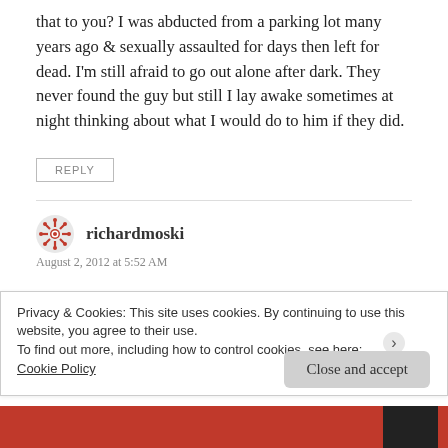that to you? I was abducted from a parking lot many years ago & sexually assaulted for days then left for dead. I'm still afraid to go out alone after dark. They never found the guy but still I lay awake sometimes at night thinking about what I would do to him if they did.
REPLY
richardmoski
August 2, 2012 at 5:52 AM
Privacy & Cookies: This site uses cookies. By continuing to use this website, you agree to their use.
To find out more, including how to control cookies, see here:
Cookie Policy
Close and accept